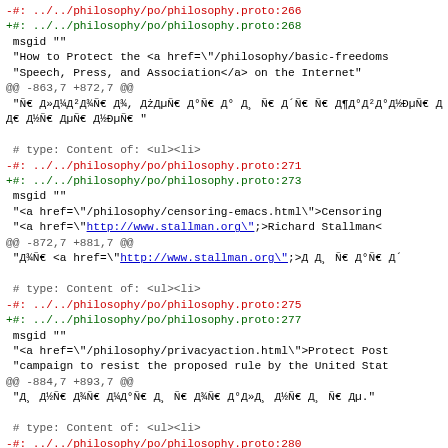-#: ../../philosophy/po/philosophy.proto:266
+#: ../../philosophy/po/philosophy.proto:268
 msgid ""
 "How to Protect the <a href=\"/philosophy/basic-freedoms
 "Speech, Press, and Association</a> on the Internet"
@@ -863,7 +872,7 @@
 "Ñ€ Д»Д¼Д²Д¾Ñ€ Д¾, ДżДµÑ€ Д°Ñ€ Д° Д¸ Ñ€ Д´Ñ€ Ñ€ Д¶Д°Д²Д°Д½ÐµÑ€ Д
Д€ Д½Ñ€ ДµÑ€ Д½ÐµÑ€ "

# type: Content of: <ul><li>
-#: ../../philosophy/po/philosophy.proto:271
+#: ../../philosophy/po/philosophy.proto:273
 msgid ""
 "<a href=\"/philosophy/censoring-emacs.html\">Censoring
 "<a href=\"http://www.stallman.org\";>Richard Stallman<
@@ -872,7 +881,7 @@
 "Д¾Ñ€ <a href=\"http://www.stallman.org\";>Д Д¸ Ñ€ Д°Ñ€ Д´

# type: Content of: <ul><li>
-#: ../../philosophy/po/philosophy.proto:275
+#: ../../philosophy/po/philosophy.proto:277
 msgid ""
 "<a href=\"/philosophy/privacyaction.html\">Protect Post
 "campaign to resist the proposed rule by the United Stat
@@ -884,7 +893,7 @@
 "Д¸ Д½Ñ€ Д¾Ñ€ Д¼Д°Ñ€ Д¸ Ñ€ Д¾Ñ€ Д°Д»Д¸ Д½Ñ€ Д¸ Ñ€ Дµ."

# type: Content of: <ul><li>
-#: ../../philosophy/po/philosophy.proto:280
+#: ../../philosophy/po/philosophy.proto:282